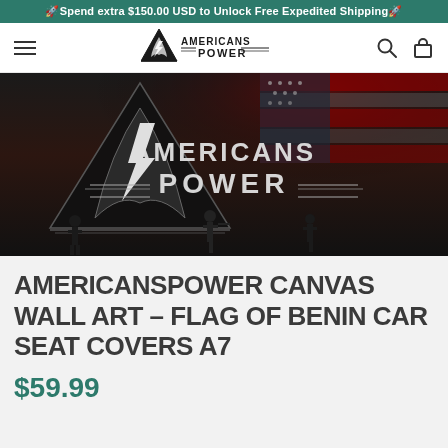🚀Spend extra $150.00 USD to Unlock Free Expedited Shipping🚀
[Figure (logo): AmericansPower logo with triangle, eagle, and lightning bolt]
[Figure (photo): Americans Power brand hero banner with military silhouettes and American flag in dark grayscale/color theme, showing AMERICANS POWER logo text]
AMERICANSPOWER CANVAS WALL ART – FLAG OF BENIN CAR SEAT COVERS A7
$59.99